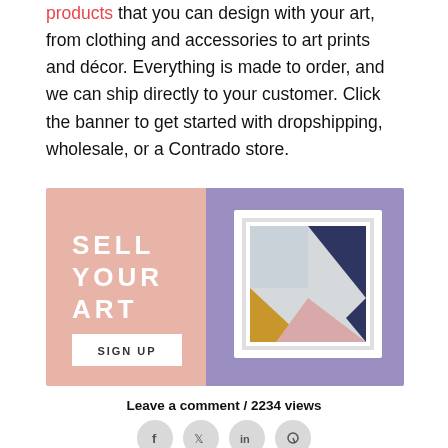products that you can design with your art, from clothing and accessories to art prints and décor. Everything is made to order, and we can ship directly to your customer. Click the banner to get started with dropshipping, wholesale, or a Contrado store.
[Figure (illustration): Contrado 'Sell Your Art' promotional banner. Left half has a dusty rose/pink background with white uppercase text 'SELL YOUR ART' and a white button reading 'SIGN UP'. Right half has a lavender/purple background with a framed geometric art print showing triangles in navy, gold/mustard, and pink.]
Leave a comment / 2234 views
[Figure (infographic): Four circular social media share icons: Facebook (f), Twitter (bird), LinkedIn (in), Pinterest (P)]